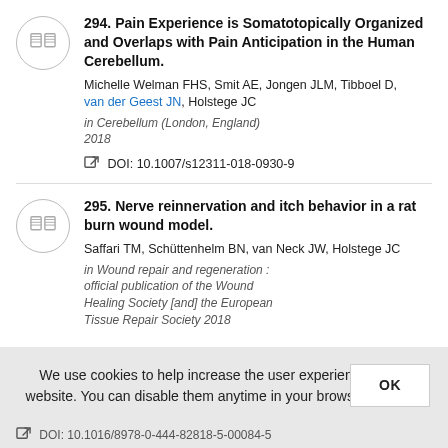294. Pain Experience is Somatotopically Organized and Overlaps with Pain Anticipation in the Human Cerebellum.
Michelle Welman FHS, Smit AE, Jongen JLM, Tibboel D, van der Geest JN, Holstege JC
in Cerebellum (London, England) 2018
DOI: 10.1007/s12311-018-0930-9
295. Nerve reinnervation and itch behavior in a rat burn wound model.
Saffari TM, Schüttenhelm BN, van Neck JW, Holstege JC
in Wound repair and regeneration : official publication of the Wound Healing Society [and] the European Tissue Repair Society 2018
We use cookies to help increase the user experience of this website. You can disable them anytime in your browser settings.
DOI: 10.1016/8978-0-444-82818-5-00084-5